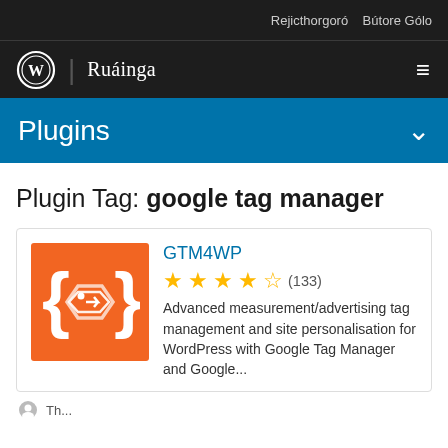Rejicthorgoró  Bútore Gólo
Ruáinga
Plugins
Plugin Tag: google tag manager
[Figure (logo): GTM4WP plugin icon: orange square with white curly braces and a tag icon]
GTM4WP
★★★★½ (133)
Advanced measurement/advertising tag management and site personalisation for WordPress with Google Tag Manager and Google...